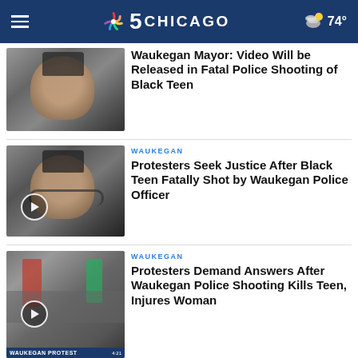NBC 5 CHICAGO — 74°
[Figure (screenshot): Thumbnail of a young Black teen wearing headphones and a white shirt, no play button, news article image]
Waukegan Mayor: Video Will be Released in Fatal Police Shooting of Black Teen
[Figure (screenshot): Thumbnail of the same young Black teen wearing headphones and a white shirt, with play button overlay]
WAUKEGAN
Protesters Seek Justice After Black Teen Fatally Shot by Waukegan Police Officer
[Figure (screenshot): Thumbnail of a protest march, people carrying flags including a red and green flag, with chyron WAUKEGAN PROTEST and NBC 5 logo, play button overlay]
WAUKEGAN
Protesters Demand Answers After Waukegan Police Shooting Kills Teen, Injures Woman